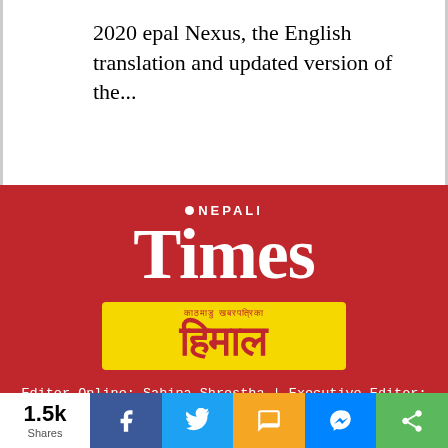2020 epal Nexus, the English translation and updated version of the...
[Figure (logo): Nepali Times logo in white on red background]
[Figure (logo): Himal Khabarpatrika logo in red text on yellow background]
Editor Online: Sahina Shrestha | Executive Editor: Sonia Awale
Publisher: Kunda Dixit, Himalmedia Pvt Ltd | Patan Dhoka, Lalitpur | GPO Box 7251 Kathmandu
Submissions
editors@nepalitimes.com | www.nepalitimes.com | www.himalmedia.com | Tel: 01-5005601-08 Fax: +977-1-
1.5k Shares [Facebook] [Twitter] [SMS] [Messenger] [Share]